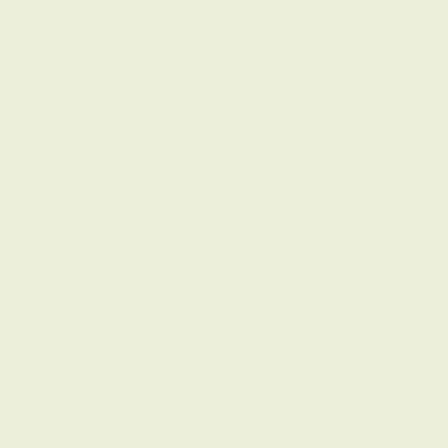WHY MAGNESIUM DEFI...
Difficulties in Diagnosis
Most of the body's Mg is w... plasma levels of minerals tha... small amounts if plasma lev... normal. When plasma Mg is... Adequacy, however, is not... information can be provided... are convulsions and cardiac... of the arteries and their musc... nervousness, irritability, anxi... care or investigation of inte... nutritional problem, is treate... Finland, where Ca intake is h... The difficulty in diagnosing... are few overt signs of early ... body has the ability to maint... The available evidence indi... changed Mg intakes by retain...
CONCLUSIONS:
When the first analysis of M... suggested as a neglected fact... of young women might be... diseases in men in the East... (from diets comprised large... disease, however, has becor... changed. A high sodium inta... Japan, emphasis is placed om... against cardiovascular diseas... level of Mg in di...